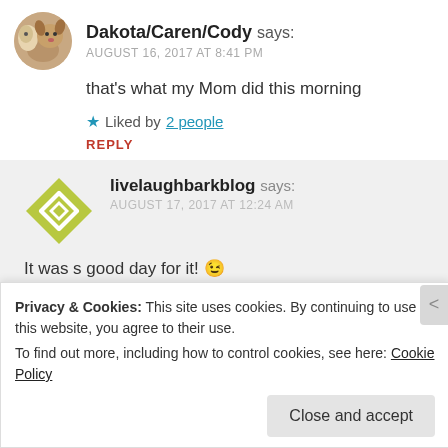Dakota/Caren/Cody says: AUGUST 16, 2017 AT 8:41 PM
that's what my Mom did this morning
Liked by 2 people
REPLY
livelaughbarkblog says: AUGUST 17, 2017 AT 12:24 AM
It was s good day for it! 😉
Like
Privacy & Cookies: This site uses cookies. By continuing to use this website, you agree to their use.
To find out more, including how to control cookies, see here: Cookie Policy
Close and accept